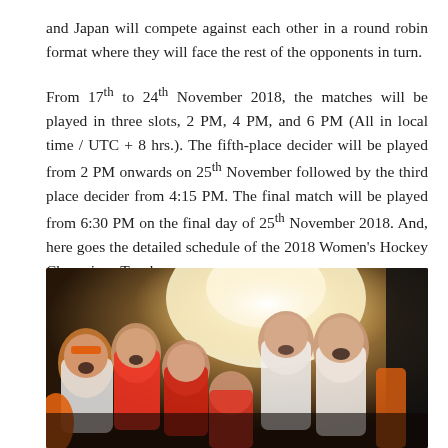and Japan will compete against each other in a round robin format where they will face the rest of the opponents in turn.
From 17th to 24th November 2018, the matches will be played in three slots, 2 PM, 4 PM, and 6 PM (All in local time / UTC + 8 hrs.). The fifth-place decider will be played from 2 PM onwards on 25th November followed by the third place decider from 4:15 PM. The final match will be played from 6:30 PM on the final day of 25th November 2018. And, here goes the detailed schedule of the 2018 Women's Hockey Champions Trophy.
[Figure (photo): Group of women field hockey players huddled together in a team circle, some wearing orange and red jerseys, cheering with mouths open. Bright backlight visible in the background.]